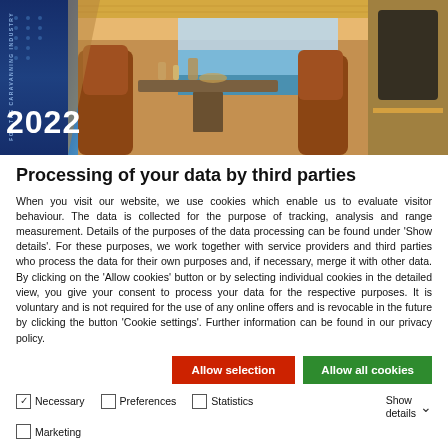[Figure (photo): Interior of a luxury motorhome/caravan showing dining area with leather seats, food and drinks on a table, warm ambient lighting, large windshield view. Blue branded panel on left with year '2022' and vertical text 'FOR THE CARAVANNING INDUSTRY'.]
Processing of your data by third parties
When you visit our website, we use cookies which enable us to evaluate visitor behaviour. The data is collected for the purpose of tracking, analysis and range measurement. Details of the purposes of the data processing can be found under 'Show details'. For these purposes, we work together with service providers and third parties who process the data for their own purposes and, if necessary, merge it with other data. By clicking on the 'Allow cookies' button or by selecting individual cookies in the detailed view, you give your consent to process your data for the respective purposes. It is voluntary and is not required for the use of any online offers and is revocable in the future by clicking the button 'Cookie settings'. Further information can be found in our privacy policy.
Allow selection | Allow all cookies
Necessary | Preferences | Statistics | Marketing | Show details